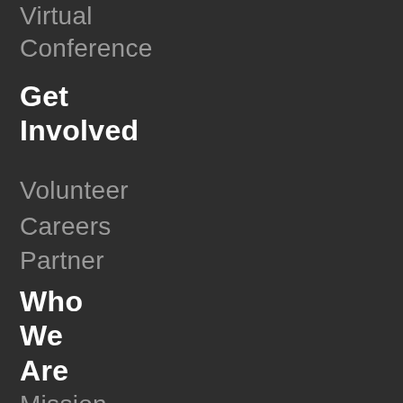Virtual
Conference
Get Involved
Volunteer
Careers
Partner
Who We Are
Mission
& Values
Our
Team